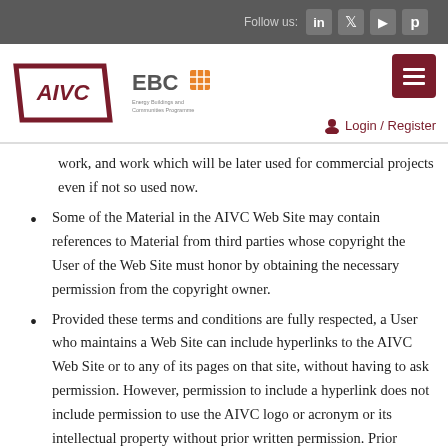Follow us: [social icons]
[Figure (logo): AIVC logo (maroon parallelogram with AIVC text) and EBC Energy Buildings and Communities Programme logo, plus hamburger menu button and Login / Register link]
work, and work which will be later used for commercial projects even if not so used now.
Some of the Material in the AIVC Web Site may contain references to Material from third parties whose copyright the User of the Web Site must honor by obtaining the necessary permission from the copyright owner.
Provided these terms and conditions are fully respected, a User who maintains a Web Site can include hyperlinks to the AIVC Web Site or to any of its pages on that site, without having to ask permission. However, permission to include a hyperlink does not include permission to use the AIVC logo or acronym or its intellectual property without prior written permission. Prior written permission is also required for including hyperlinks to other content of this Web Site.